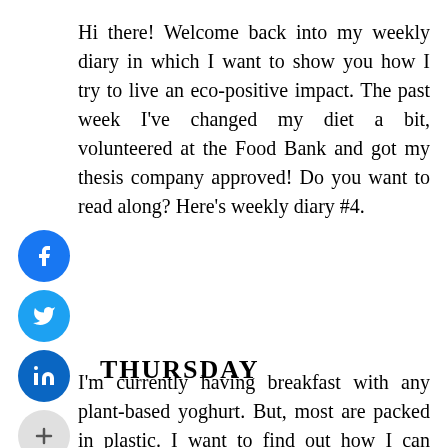Hi there! Welcome back into my weekly diary in which I want to show you how I try to live an eco-positive impact. The past week I've changed my diet a bit, volunteered at the Food Bank and got my thesis company approved! Do you want to read along? Here's weekly diary #4.
[Figure (infographic): Social share buttons: Facebook (blue circle with f icon), Twitter (blue circle with bird icon), LinkedIn (dark blue circle with in icon), and a gray plus button]
THURSDAY
I'm currently having breakfast with any plant-based yoghurt. But, most are packed in plastic. I want to find out how I can make my own plant-based yoghurt in the future. Towards another zero-waste switch! Since I got my